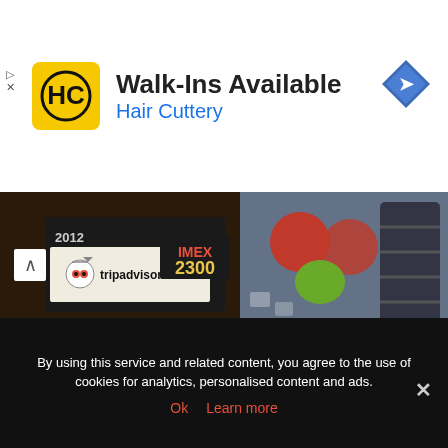[Figure (screenshot): Hair Cuttery advertisement banner with yellow HC logo, text 'Walk-Ins Available' and 'Hair Cuttery' in blue, and a blue navigation arrow icon on the right.]
[Figure (photo): Photo strip showing a TripAdvisor sign from 2012 with price 2300, and seafood/produce (tomatoes, green fruit, ice, lobster/shrimp tail) on the right.]
The seafood restaurant Patong Seafood Restaurant is the place to have a great seafood dinner. A plentiful menu, including ordinary Thai dishes such as Tom Yum Talay, green curry, curry with cooked coconut milk, as well as special kinds of seafood such as fried shrimp, served
By using this service and related content, you agree to the use of cookies for analytics, personalised content and ads.
Ok   Learn more